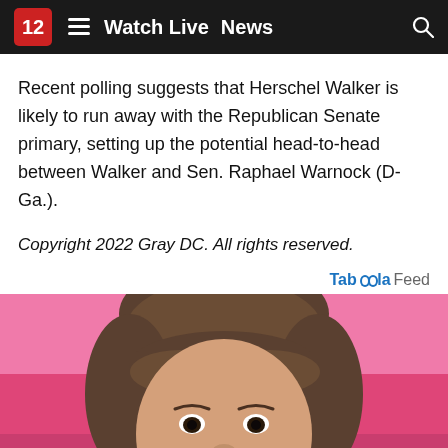12 ≡ Watch Live News 🔍
Recent polling suggests that Herschel Walker is likely to run away with the Republican Senate primary, setting up the potential head-to-head between Walker and Sen. Raphael Warnock (D-Ga.).
Copyright 2022 Gray DC. All rights reserved.
Taboola Feed
[Figure (photo): Close-up photo of a young woman with brown hair and bangs against a pink background, smiling slightly. Bottom portion is obscured by a dark overlay with a close button.]